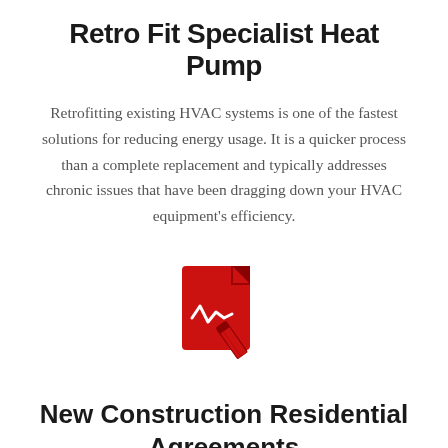Retro Fit Specialist Heat Pump
Retrofitting existing HVAC systems is one of the fastest solutions for reducing energy usage. It is a quicker process than a complete replacement and typically addresses chronic issues that have been dragging down your HVAC equipment’s efficiency.
[Figure (illustration): Red icon of a document/file with a pencil/signature mark, representing a contract or agreement form.]
New Construction Residential Agreements
Every home is different; even the same-sized houses